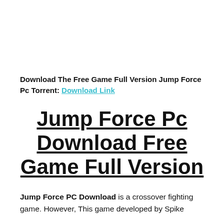Download The Free Game Full Version Jump Force Pc Torrent: Download Link
Jump Force Pc Download Free Game Full Version
Jump Force PC Download is a crossover fighting game. However, This game developed by Spike